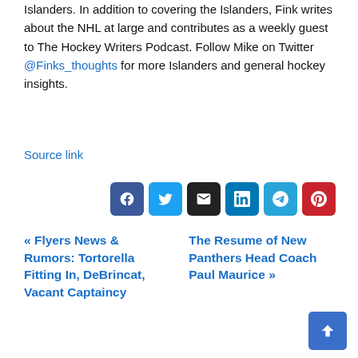Islanders. In addition to covering the Islanders, Fink writes about the NHL at large and contributes as a weekly guest to The Hockey Writers Podcast. Follow Mike on Twitter @Finks_thoughts for more Islanders and general hockey insights.
Source link
[Figure (infographic): Social share buttons: Facebook, Twitter, Email, LinkedIn, Telegram, Pinterest]
« Flyers News & Rumors: Tortorella Fitting In, DeBrincat, Vacant Captaincy
The Resume of New Panthers Head Coach Paul Maurice »